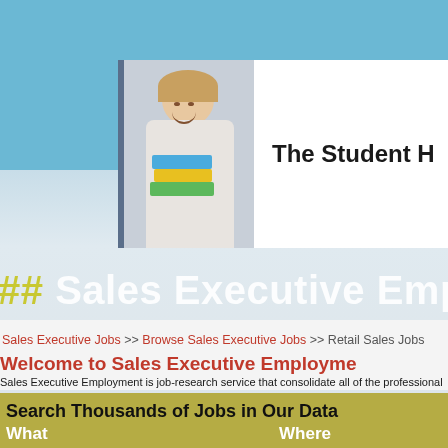[Figure (screenshot): Website header banner showing a young woman holding colorful books, with text 'The Student H' (truncated) on a white background with a dark blue left border]
# Sales Executive Employm
Sales Executive Jobs >> Browse Sales Executive Jobs >> Retail Sales Jobs
Welcome to Sales Executive Employme
Sales Executive Employment is job-research service that consolidate all of the professional job source, company, and organization career page (and every ot about all the sales executive jobs and can make your important personal care way.
Search Thousands of Jobs in Our Dat
What    Where